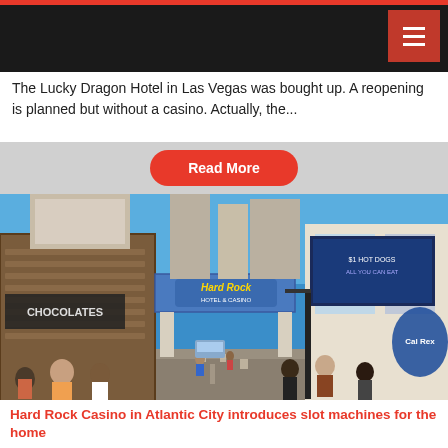The Lucky Dragon Hotel in Las Vegas was bought up. A reopening is planned but without a casino. Actually, the...
Read More
[Figure (photo): Street-level view of the Hard Rock Hotel & Casino in Atlantic City boardwalk area. A blue pedestrian bridge spans across the walkway with the Hard Rock Hotel & Casino sign. People walk along a wide outdoor promenade flanked by casino buildings on both sides under a clear blue sky.]
Hard Rock Casino in Atlantic City introduces slot machines for the home